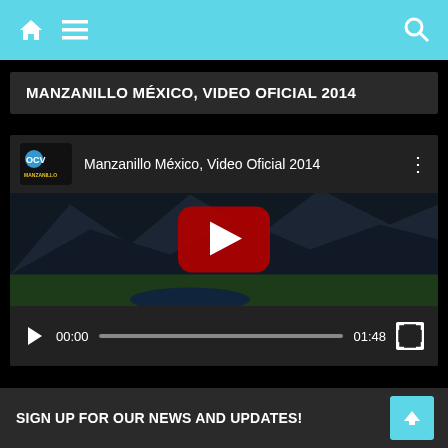Navigation bar with home icon, menu icon, and search icon
MANZANILLO MÉXICO, VIDEO OFICIAL 2014
[Figure (screenshot): YouTube video embed showing 'Manzanillo México, Video Oficial 2014' with a thumbnail of a golf course and mountains, YouTube play button overlay, and video controls showing 00:00 / 01:48]
SIGN UP FOR OUR NEWS AND UPDATES!